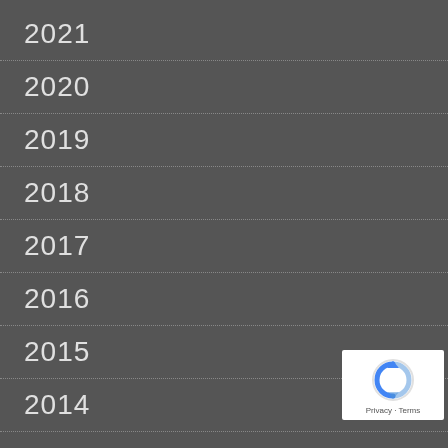2021
2020
2019
2018
2017
2016
2015
2014
2013
[Figure (logo): Google reCAPTCHA badge with Privacy and Terms links]